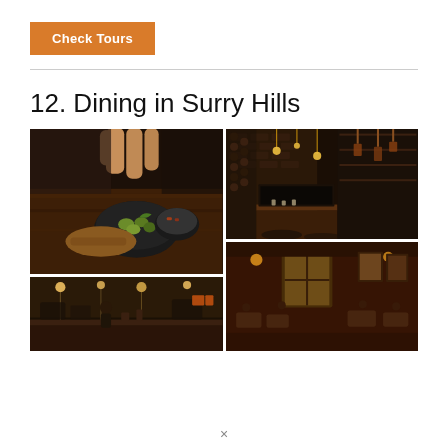Check Tours
12. Dining in Surry Hills
[Figure (photo): Four restaurant dining photos arranged in a grid: top-left shows a hand placing food in a black bowl with olives and charcuterie on a wooden board; bottom-left shows a restaurant kitchen/bar interior; top-right shows a wine bar interior with bottles and industrial lighting; bottom-right shows a warmly lit dining room interior.]
×